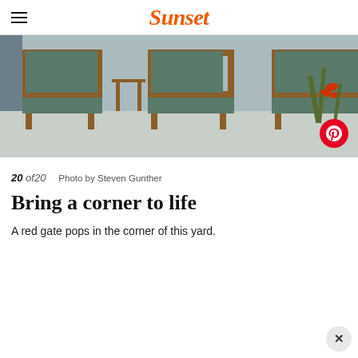Sunset
[Figure (photo): Outdoor patio furniture with wooden frames and green cushions on a concrete patio, with red flowering plants visible in the background]
20 of20   Photo by Steven Gunther
Bring a corner to life
A red gate pops in the corner of this yard.